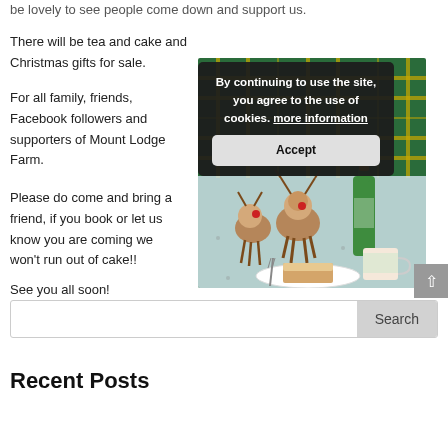be lovely to see people come down and support us.
There will be tea and cake and Christmas gifts for sale.
For all family, friends, Facebook followers and supporters of Mount Lodge Farm.
Please do come and bring a friend, if you book or let us know you are coming we won't run out of cake!!
See you all soon!
[Figure (photo): Christmas table scene with wooden reindeer decorations, a green bottle, a mug, and a slice of cake on a plate, with green tartan fabric in the background. A cookie consent overlay reads: By continuing to use the site, you agree to the use of cookies. more information, with an Accept button.]
Search
Recent Posts